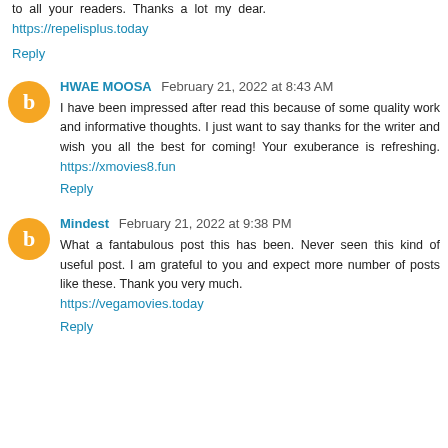to all your readers. Thanks a lot my dear. https://repelisplus.today
Reply
HWAE MOOSA  February 21, 2022 at 8:43 AM
I have been impressed after read this because of some quality work and informative thoughts. I just want to say thanks for the writer and wish you all the best for coming! Your exuberance is refreshing. https://xmovies8.fun
Reply
Mindest  February 21, 2022 at 9:38 PM
What a fantabulous post this has been. Never seen this kind of useful post. I am grateful to you and expect more number of posts like these. Thank you very much. https://vegamovies.today
Reply